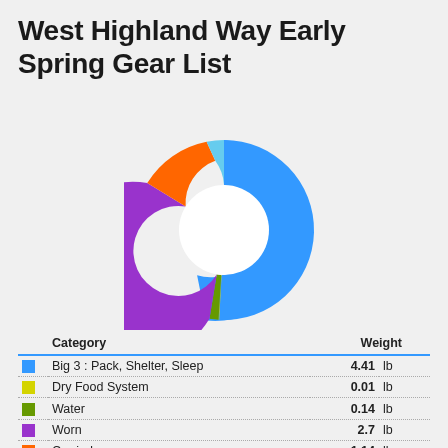West Highland Way Early Spring Gear List
[Figure (donut-chart): West Highland Way Early Spring Gear List]
|  | Category | Weight |  |
| --- | --- | --- | --- |
| ■ | Big 3 : Pack, Shelter, Sleep | 4.41 | lb |
| ■ | Dry Food System | 0.01 | lb |
| ■ | Water | 0.14 | lb |
| ■ | Worn | 2.7 | lb |
| ■ | Carried | 1.14 | lb |
| ■ | Healthcare & Safety | 0.27 | lb |